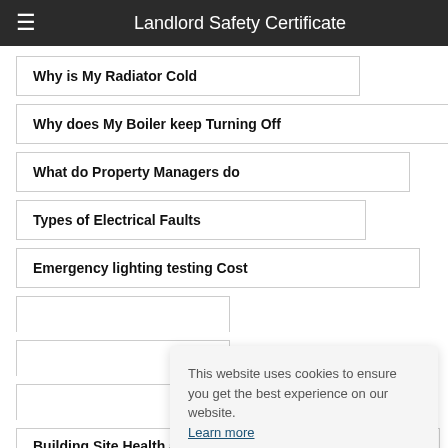Landlord Safety Certificate
Why is My Radiator Cold
Why does My Boiler keep Turning Off
What do Property Managers do
Types of Electrical Faults
Emergency lighting testing Cost
Building Site Health and Safety Checklist
This website uses cookies to ensure you get the best experience on our website. Learn more
Accept